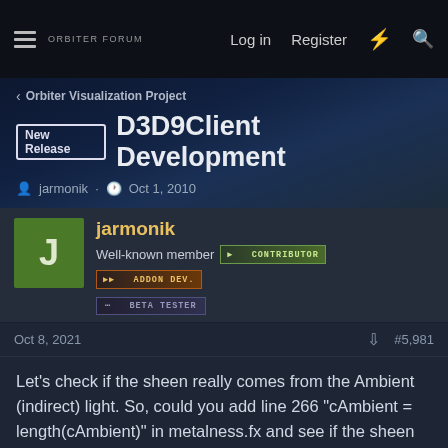Orbiter Forum | Log in | Register
New Release D3D9Client Development
jarmonik · Oct 1, 2010
jarmonik — Well-known member — CONTRIBUTOR — ADDON DEV. — BETA TESTER
Oct 8, 2021 #5,981
Let's check if the sheen really comes from the Ambient (indirect) light. So, could you add line 266 "cAmbient = length(cAmbient)" in metalness.fx and see if the sheen has disappeared.
Code:
// Apply base ambient light
cAmbient = max(cAmbient, gSun.Ambient);
cAmbient = length(cAmbient);